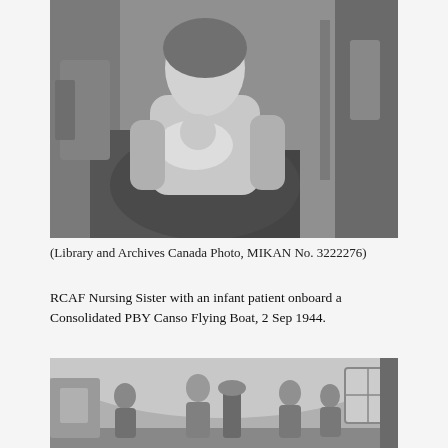[Figure (photo): Black and white photograph of an RCAF Nursing Sister holding an infant patient onboard a Consolidated PBY Canso Flying Boat, 1944. The nurse is seated, wearing a coat, cradling a swaddled infant. Interior of the aircraft is visible in the background.]
(Library and Archives Canada Photo, MIKAN No. 3222276)
RCAF Nursing Sister with an infant patient onboard a Consolidated PBY Canso Flying Boat, 2 Sep 1944.
[Figure (photo): Black and white photograph showing the interior of what appears to be a military medical facility or barracks with several people standing inside a large tent or Nissen hut structure.]